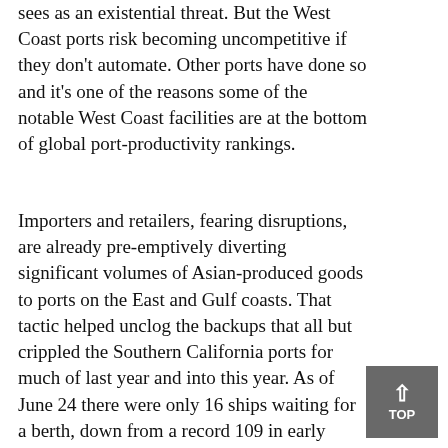sees as an existential threat. But the West Coast ports risk becoming uncompetitive if they don't automate. Other ports have done so and it's one of the reasons some of the notable West Coast facilities are at the bottom of global port-productivity rankings.
Importers and retailers, fearing disruptions, are already pre-emptively diverting significant volumes of Asian-produced goods to ports on the East and Gulf coasts. That tactic helped unclog the backups that all but crippled the Southern California ports for much of last year and into this year. As of June 24 there were only 16 ships waiting for a berth, down from a record 109 in early January. But the diversions simultaneously led to worsening